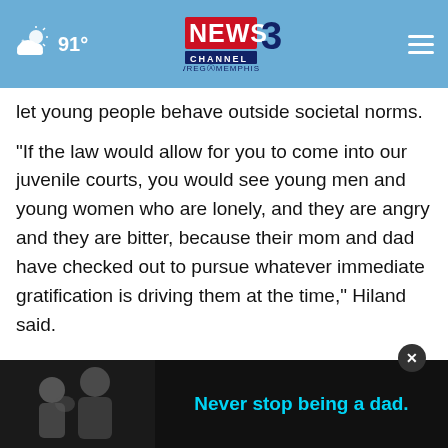91° NEWS3 CHANNEL WREG MEMPHIS
let young people behave outside societal norms.
“If the law would allow for you to come into our juvenile courts, you would see young men and young women who are lonely, and they are angry and they are bitter, because their mom and dad have checked out to pursue whatever immediate gratification is driving them at the time,” Hiland said.
“It’s the breakdown of the family. Faith issues. Societal issues,” he said. “I can tell you that our juvenile courts are full and that one day we will reap a bitter
[Figure (screenshot): Advertisement banner at bottom: black and white photo of man and child on left, text 'Never stop being a dad.' in cyan on dark background on right, with close (X) button overlay.]